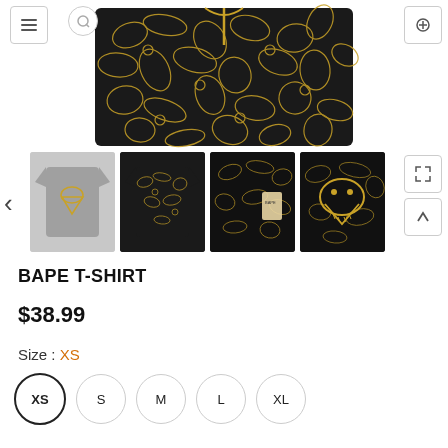[Figure (photo): Main product image showing a black and gold BAPE shark T-shirt with camo print pattern laid flat]
[Figure (photo): Thumbnail 1: Gray BAPE t-shirt with gold shark face graphic on front]
[Figure (photo): Thumbnail 2: Black and gold camo BAPE t-shirt front view]
[Figure (photo): Thumbnail 3: Close-up of black gold camo fabric and BAPE tag]
[Figure (photo): Thumbnail 4: Close-up of gold shark face graphic on black camo fabric]
BAPE T-SHIRT
$38.99
Size : XS
XS S M L XL